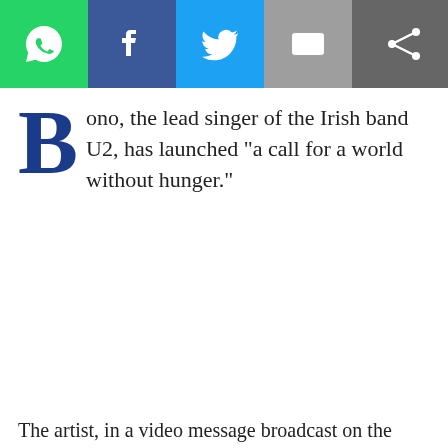[Figure (screenshot): Social media sharing bar with WhatsApp (green), Facebook (dark blue), Twitter (light blue), Email (grey) buttons, and a share icon on the right on dark grey background]
Bono, the lead singer of the Irish band U2, has launched "a call for a world without hunger."
The artist, in a video message broadcast on the Milan Expo during the launch of Terra e Cibo (Land and food) by